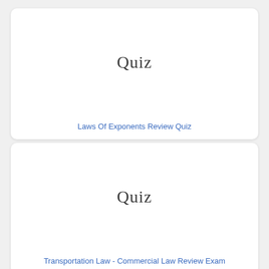[Figure (illustration): A card with handwritten-style 'Quiz' text in the center on a white background]
Laws Of Exponents Review Quiz
[Figure (illustration): A card with handwritten-style 'Quiz' text in the center on a white background]
Transportation Law - Commercial Law Review Exam